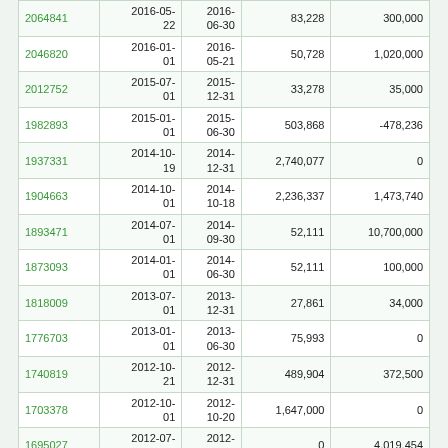| ID | Start Date | End Date | Value 1 | Value 2 |
| --- | --- | --- | --- | --- |
| 2064841 | 2016-05-22 | 2016-06-30 | 83,228 | 300,000 |
| 2046820 | 2016-01-01 | 2016-05-21 | 50,728 | 1,020,000 |
| 2012752 | 2015-07-01 | 2015-12-31 | 33,278 | 35,000 |
| 1982893 | 2015-01-01 | 2015-06-30 | 503,868 | -478,236 |
| 1937331 | 2014-10-19 | 2014-12-31 | 2,740,077 | 0 |
| 1904663 | 2014-10-01 | 2014-10-18 | 2,236,337 | 1,473,740 |
| 1893471 | 2014-07-01 | 2014-09-30 | 52,111 | 10,700,000 |
| 1873093 | 2014-01-01 | 2014-06-30 | 52,111 | 100,000 |
| 1818009 | 2013-07-01 | 2013-12-31 | 27,861 | 34,000 |
| 1776703 | 2013-01-01 | 2013-06-30 | 75,993 | 0 |
| 1740819 | 2012-10-21 | 2012-12-31 | 489,904 | 372,500 |
| 1703378 | 2012-10-01 | 2012-10-20 | 1,647,000 | 0 |
| 1695027 | 2012-07-01 | 2012-09-30 | 0 | 4,019,454 |
| 1680689 | 2012-04-01 | 2012-06-30 | 0 | 150,000 |
| 1657424 | 2012-01-01 | 2012-03-31 | 0 | 250,000 |